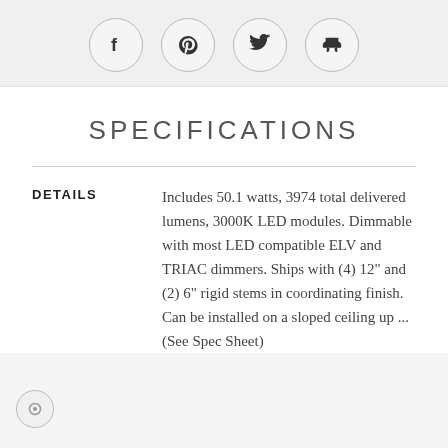[Figure (other): Social media sharing icons: Facebook, Pinterest, Twitter, and a furniture/chair icon, each inside a circular border button on a light gray background bar.]
SPECIFICATIONS
DETAILS
Includes 50.1 watts, 3974 total delivered lumens, 3000K LED modules. Dimmable with most LED compatible ELV and TRIAC dimmers. Ships with (4) 12" and (2) 6" rigid stems in coordinating finish. Can be installed on a sloped ceiling up ... (See Spec Sheet)